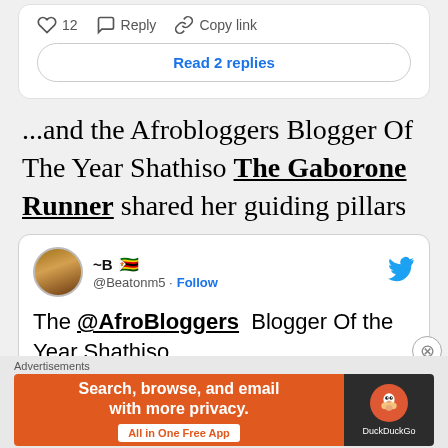[Figure (screenshot): Social media post action bar showing heart icon with 12 likes, Reply button, and Copy link button, followed by a Read 2 replies button]
...and the Afrobloggers Blogger Of The Year Shathiso The Gaborone Runner shared her guiding pillars
[Figure (screenshot): Embedded tweet from @Beatonm5 with Follow link and Twitter bird icon. Tweet text: The @AfroBloggers Blogger Of the Year Shathiso]
Advertisements — Search, browse, and email with more privacy. All in One Free App — DuckDuckGo